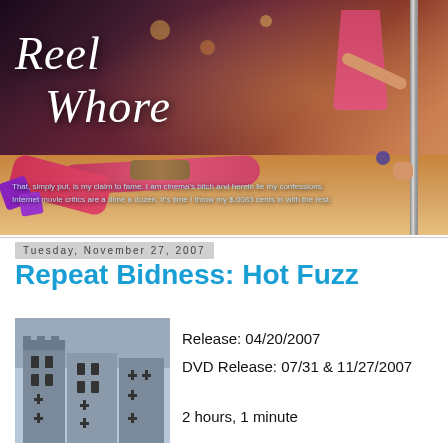[Figure (photo): Banner image for 'Reel Whore' blog showing a performer in red on a stage floor with pole, with italic script title text overlay and tagline text at bottom]
That, simply put, is my claim to fame. I am cinema's bitch and herein lie my confessions. Internet movie critics are a dime a dozen. It's time I throw my $.0083 cents in with the rest.
Tuesday, November 27, 2007
Repeat Bidness: Hot Fuzz
[Figure (photo): Movie still or poster image showing a castle/stone building facade with cross-shaped windows]
Release: 04/20/2007
DVD Release: 07/31 & 11/27/2007
2 hours, 1 minute